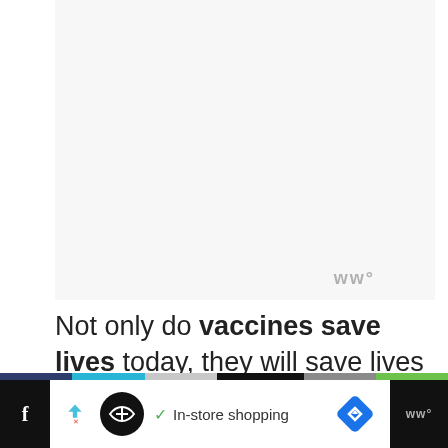[Figure (other): Large light gray blank/white image area with a small watermark 'WWº' in the bottom-right corner]
Not only do vaccines save lives today, they will save lives in the future.
[Figure (infographic): Bottom advertising bar with color strip, social media icons, ad logo, 'In-store shopping' text, and navigation icons on dark background]